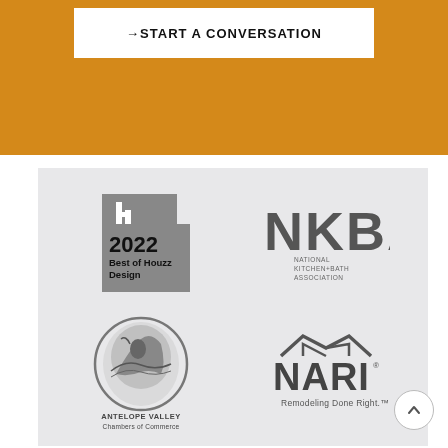[Figure (other): Orange banner with white box containing arrow and text: START A CONVERSATION]
[Figure (other): Grid of four partner/award logos on light gray background: 2022 Best of Houzz Design (Houzz logo), NKBA National Kitchen+Bath Association, Antelope Valley Chambers of Commerce, NARI Remodeling Done Right]